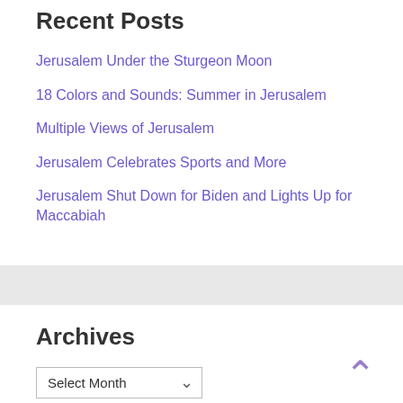Recent Posts
Jerusalem Under the Sturgeon Moon
18 Colors and Sounds: Summer in Jerusalem
Multiple Views of Jerusalem
Jerusalem Celebrates Sports and More
Jerusalem Shut Down for Biden and Lights Up for Maccabiah
Archives
Select Month